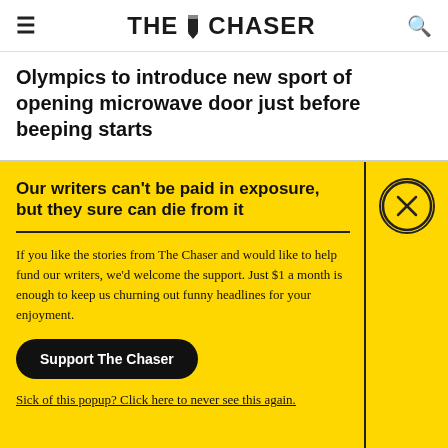THE CHASER
Olympics to introduce new sport of opening microwave door just before beeping starts
Our writers can't be paid in exposure, but they sure can die from it
If you like the stories from The Chaser and would like to help fund our writers, we'd welcome the support. Just $1 a month is enough to keep us churning out funny headlines for your enjoyment.
Support The Chaser
Sick of this popup? Click here to never see this again.